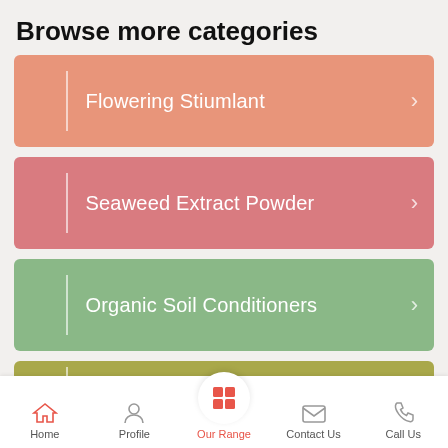Browse more categories
Flowering Stiumlant
Seaweed Extract Powder
Organic Soil Conditioners
Home | Profile | Our Range | Contact Us | Call Us